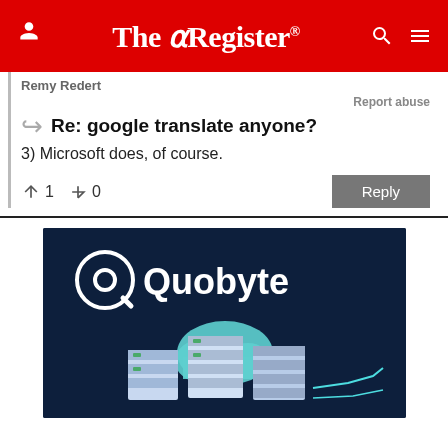The Register
Remy Redert
Report abuse
Re: google translate anyone?
3) Microsoft does, of course.
↑1  ↓0
[Figure (logo): Quobyte logo and cloud/server illustration advertisement on dark navy background]